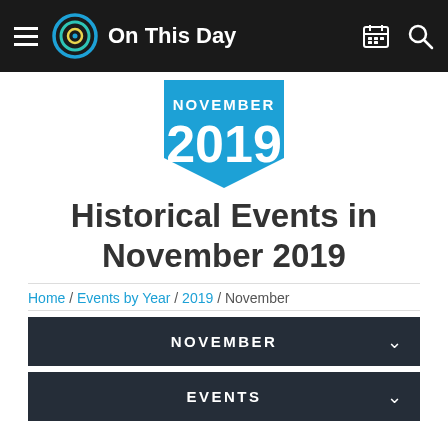On This Day
[Figure (logo): Blue/green/yellow spiral logo for 'On This Day' website with navigation bar]
Historical Events in November 2019
Home / Events by Year / 2019 / November
NOVEMBER
EVENTS